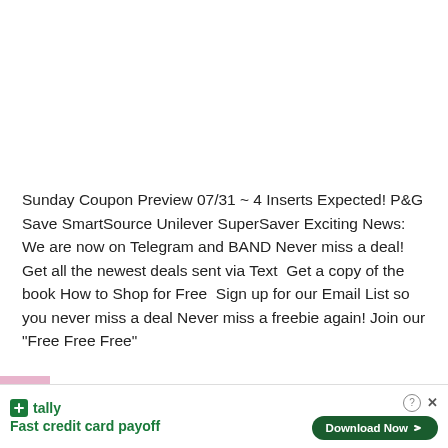Sunday Coupon Preview 07/31 ~ 4 Inserts Expected! P&G Save SmartSource Unilever SuperSaver Exciting News: We are now on Telegram and BAND Never miss a deal! Get all the newest deals sent via Text  Get a copy of the book How to Shop for Free  Sign up for our Email List so you never miss a deal Never miss a freebie again! Join our "Free Free Free"
[Figure (screenshot): VIEW POST button (dark purple/maroon) and a scroll-to-top arrow button (gray)]
[Figure (infographic): Tally advertisement bar: Tally logo and name on left, 'Fast credit card payoff' tagline, 'Download Now' green pill button on right, with help and close icons]